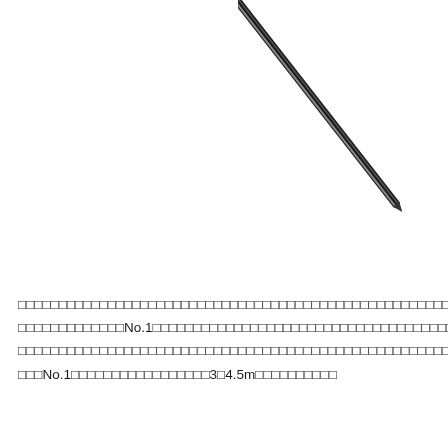[Figure (photo): A diagonal black thin rod or pen-like product against white background, photographed from upper-right corner area]
□□□□□□□□□□□□□□□□□□□□□□□□□□□□□□□□□□□□□□□□□□□□□□□□□□□□□□
□□□□□□□□□□□□□No.1□□□□□□□□□□□□□□□□□□□□□□□□□□□□□□□□□□□□□□□□□□□□□□□
□□□□□□□□□□□□□□□□□□□□□□□□□□□□□□□□□□□□□□□□□□□□□□□□□□□□□□
□□□No.1□□□□□□□□□□□□□□□□□3□4.5m□□□□□□□□□□
□□□□□□
□□□□□□□